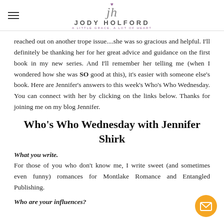Jody Holford — A Little Grace, A Lot of Heart
reached out on another trope issue....she was so gracious and helpful. I'll definitely be thanking her for her great advice and guidance on the first book in my new series. And I'll remember her telling me (when I wondered how she was SO good at this), it's easier with someone else's book. Here are Jennifer's answers to this week's Who's Who Wednesday. You can connect with her by clicking on the links below. Thanks for joining me on my blog Jennifer.
Who's Who Wednesday with Jennifer Shirk
What you write.
For those of you who don't know me, I write sweet (and sometimes even funny) romances for Montlake Romance and Entangled Publishing.
Who are your influences?